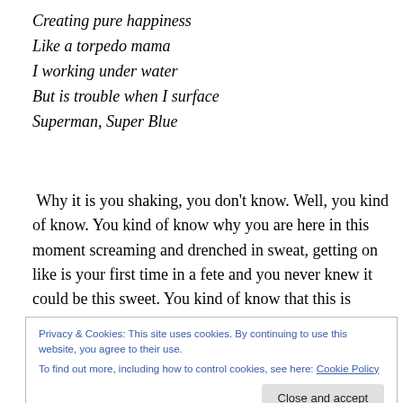Creating pure happiness
Like a torpedo mama
I working under water
But is trouble when I surface
Superman, Super Blue
Why it is you shaking, you don't know. Well, you kind of know. You kind of know why you are here in this moment screaming and drenched in sweat, getting on like is your first time in a fete and you never knew it could be this sweet. You kind of know that this is where you are
Privacy & Cookies: This site uses cookies. By continuing to use this website, you agree to their use.
To find out more, including how to control cookies, see here: Cookie Policy
the Royal Temple of Soca and the High Priest is presiding